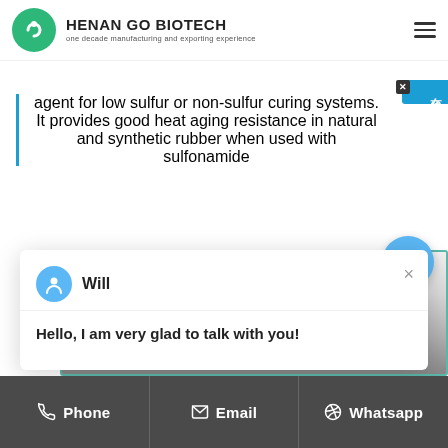HENAN GO BIOTECH — one decade manufacturing and exporting experience
agent for low sulfur or non-sulfur curing systems. It provides good heat aging resistance in natural and synthetic rubber when used with sulfonamide
Will
Hello,  I am very glad to talk with you!
[Figure (photo): Photo of coffee beans on a white plate, partially visible at bottom of page]
Phone   Email   Whatsapp